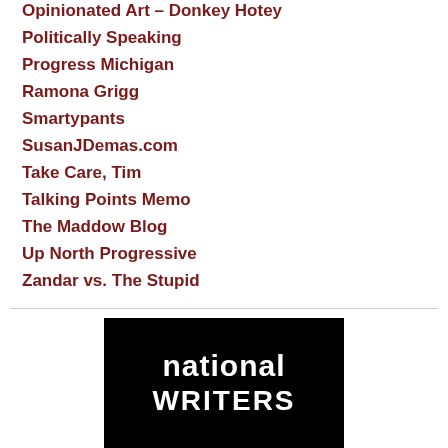Opinionated Art – Donkey Hotey
Politically Speaking
Progress Michigan
Ramona Grigg
Smartypants
SusanJDemas.com
Take Care, Tim
Talking Points Memo
The Maddow Blog
Up North Progressive
Zandar vs. The Stupid
[Figure (logo): National Writers logo – black background with 'national' in white bold text and 'WRITERS' in large white bold all-caps text below]